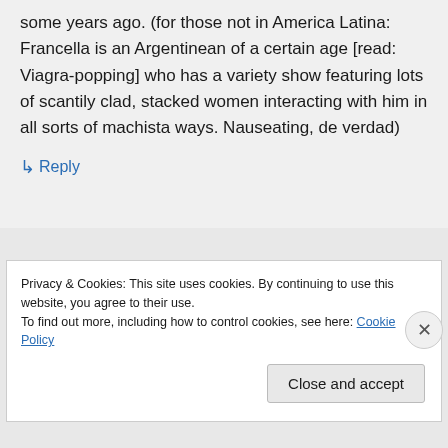some years ago. (for those not in America Latina: Francella is an Argentinean of a certain age [read: Viagra-popping] who has a variety show featuring lots of scantily clad, stacked women interacting with him in all sorts of machista ways. Nauseating, de verdad)
↳ Reply
Privacy & Cookies: This site uses cookies. By continuing to use this website, you agree to their use.
To find out more, including how to control cookies, see here: Cookie Policy
Close and accept